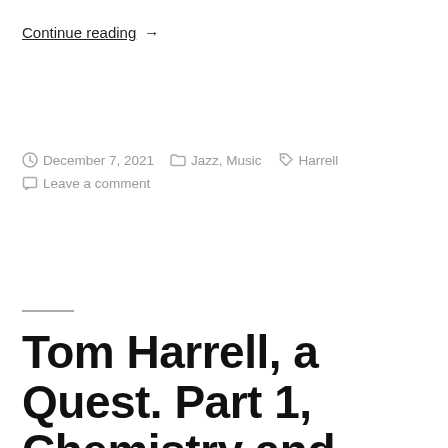Continue reading →
December 7, 2021  Jazz, Music  Harrell  Leave a comment
Tom Harrell, a Quest. Part 1, Chemistry and Rec...